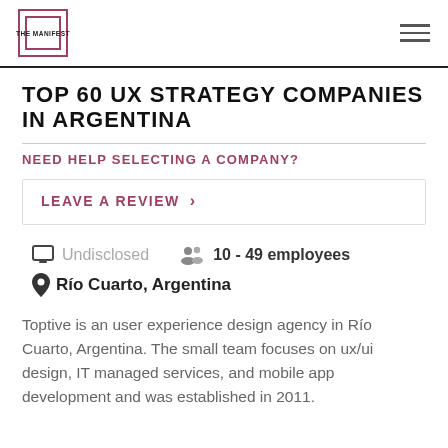THE MANIFEST
TOP 60 UX STRATEGY COMPANIES IN ARGENTINA
NEED HELP SELECTING A COMPANY?
LEAVE A REVIEW >
Undisclosed  10 - 49 employees
Río Cuarto, Argentina
Toptive is an user experience design agency in Río Cuarto, Argentina. The small team focuses on ux/ui design, IT managed services, and mobile app development and was established in 2011.